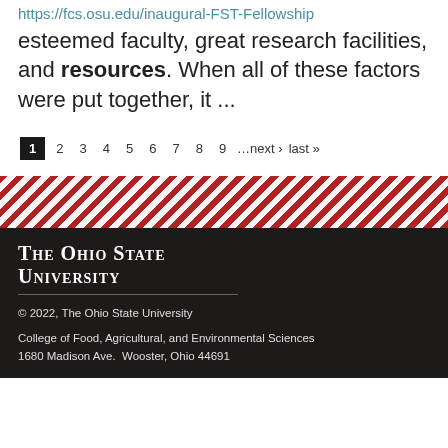https://fcs.osu.edu/inaugural-FST-Fellowship esteemed faculty, great research facilities, and resources. When all of these factors were put together, it ...
1 2 3 4 5 6 7 8 9 …next › last »
[Figure (other): Diagonal red and white stripe decorative band]
The Ohio State University
© 2022, The Ohio State University
College of Food, Agricultural, and Environmental Sciences
1680 Madison Ave.  Wooster, Ohio 44691